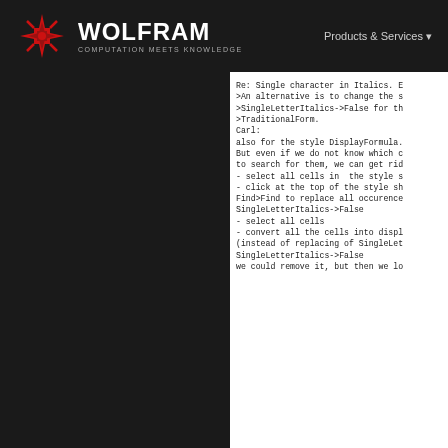[Figure (logo): Wolfram logo with red star icon and text 'WOLFRAM COMPUTATION MEETS KNOWLEDGE' on dark background header, with 'Products & Services' navigation item]
Re: Single character in Italics. E

>An alternative is to change the s
>SingleLetterItalics->False for th
>TraditionalForm.

Carl:

also for the style DisplayFormula.

But even if we do not know which c
to search for them, we can get rid

- select all cells in  the style s
- click at the top of the style sh
Find>Find to replace all occurence
SingleLetterItalics->False
- select all cells
- convert all the cells into displ

(instead of replacing of SingleLet
SingleLetterItalics->False
we could remove it, but then we lo